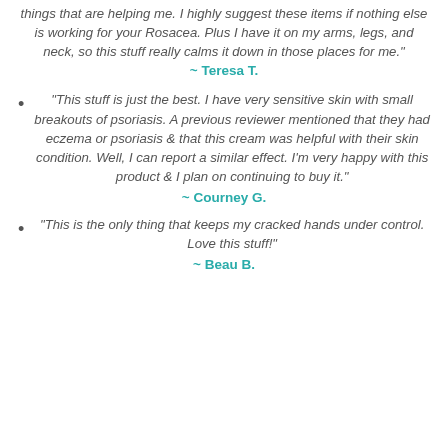things that are helping me. I highly suggest these items if nothing else is working for your Rosacea. Plus I have it on my arms, legs, and neck, so this stuff really calms it down in those places for me."
~ Teresa T.
"This stuff is just the best. I have very sensitive skin with small breakouts of psoriasis. A previous reviewer mentioned that they had eczema or psoriasis & that this cream was helpful with their skin condition. Well, I can report a similar effect. I'm very happy with this product & I plan on continuing to buy it."
~ Courney G.
"This is the only thing that keeps my cracked hands under control. Love this stuff!"
~ Beau B.